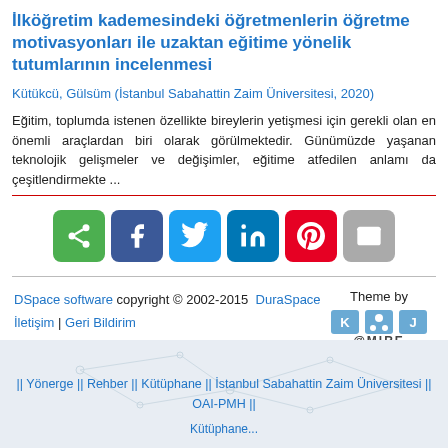İlköğretim kademesindeki öğretmenlerin öğretme motivasyonları ile uzaktan eğitime yönelik tutumlarının incelenmesi
Kütükcü, Gülsüm (İstanbul Sabahattin Zaim Üniversitesi, 2020)
Eğitim, toplumda istenen özellikte bireylerin yetişmesi için gerekli olan en önemli araçlardan biri olarak görülmektedir. Günümüzde yaşanan teknolojik gelişmeler ve değişimler, eğitime atfedilen anlamı da çeşitlendirmekte ...
[Figure (infographic): Social sharing buttons: share (green), Facebook (dark blue), Twitter (light blue), LinkedIn (blue), Pinterest (red), mail (grey)]
DSpace software copyright © 2002-2015  DuraSpace
İletişim | Geri Bildirim
Theme by @MIRE
|| Yönerge || Rehber || Kütüphane || İstanbul Sabahattin Zaim Üniversitesi || OAI-PMH ||
Kütüphane...